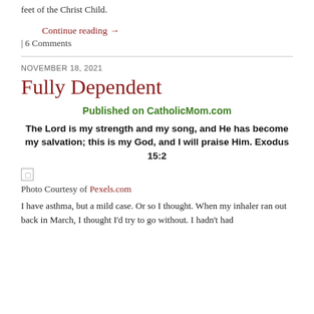feet of the Christ Child.
Continue reading →
| 6 Comments
NOVEMBER 18, 2021
Fully Dependent
Published on CatholicMom.com
The Lord is my strength and my song, and He has become my salvation; this is my God, and I will praise Him. Exodus 15:2
[Figure (other): Small image placeholder icon]
Photo Courtesy of Pexels.com
I have asthma, but a mild case. Or so I thought. When my inhaler ran out back in March, I thought I'd try to go without. I hadn't had